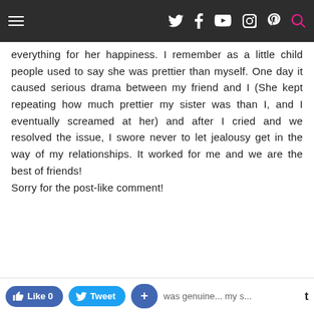Navigation bar with hamburger menu and social icons
everything for her happiness. I remember as a little child people used to say she was prettier than myself. One day it caused serious drama between my friend and I (She kept repeating how much prettier my sister was than I, and I eventually screamed at her) and after I cried and we resolved the issue, I swore never to let jealousy get in the way of my relationships. It worked for me and we are the best of friends!
Sorry for the post-like comment!
Anonymous
May 31, 2016 at 11:14 AM
Like 0  Tweet  +  was genuine...my s...  t